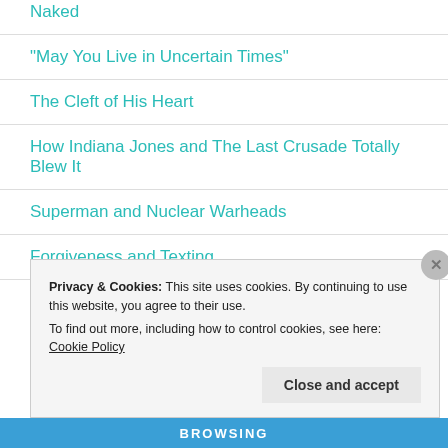Naked
“May You Live in Uncertain Times”
The Cleft of His Heart
How Indiana Jones and The Last Crusade Totally Blew It
Superman and Nuclear Warheads
Forgiveness and Texting
Privacy & Cookies: This site uses cookies. By continuing to use this website, you agree to their use.
To find out more, including how to control cookies, see here: Cookie Policy
Close and accept